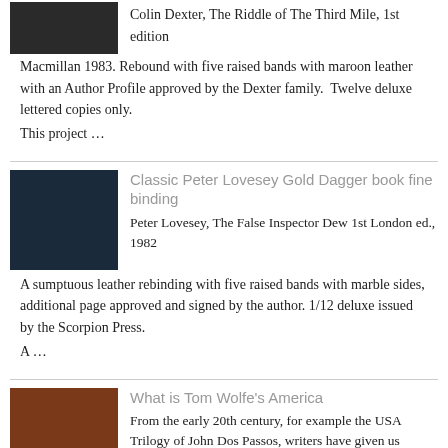Colin Dexter, The Riddle of The Third Mile, 1st edition Macmillan 1983. Rebound with five raised bands with maroon leather with an Author Profile approved by the Dexter family. Twelve deluxe lettered copies only.
This project …
Classic Peter Lovesey Gold Dagger book fine binding
Peter Lovesey, The False Inspector Dew 1st London ed., 1982
A sumptuous leather rebinding with five raised bands with marble sides, additional page approved and signed by the author. 1/12 deluxe issued by the Scorpion Press.
A …
What is Tom Wolfe's America
From the early 20th century, for example the USA Trilogy of John Dos Passos, writers have given us contemporary portraits of America. One of the best, and most varied chronicles of the second half of …